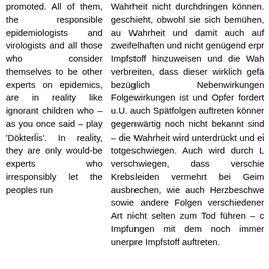promoted. All of them, the responsible epidemiologists and virologists and all those who consider themselves to be other experts on epidemics, are in reality like ignorant children who – as you once said – play 'Dökterlis'. In reality, they are only would-be experts who irresponsibly let the peoples run
Wahrheit nicht durchdringen können. geschieht, obwohl sie sich bemühen, au Wahrheit und damit auch auf zweifelhaften und nicht genügend erpr Impfstoff hinzuweisen und die Wah verbreiten, dass dieser wirklich gefä bezüglich Nebenwirkungen Folgewirkungen ist und Opfer fordert u.U. auch Spätfolgen auftreten könner gegenwärtig noch nicht bekannt sind – die Wahrheit wird unterdrückt und ei totgeschwiegen. Auch wird durch L verschwiegen, dass verschie Krebsleiden vermehrt bei Geim ausbrechen, wie auch Herzbeschwe sowie andere Folgen verschiedener Art nicht selten zum Tod führen – c Impfungen mit dem noch immer unerpre Impfstoff auftreten.